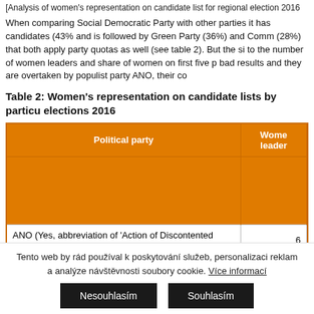[Analysis of women's representation on candidate list for regional election 2016
When comparing Social Democratic Party with other parties it has candidates (43% and is followed by Green Party (36%) and Comm (28%) that both apply party quotas as well (see table 2). But the si to the number of women leaders and share of women on first five p bad results and they are overtaken by populist party ANO, their co
Table 2: Women's representation on candidate lists by particu elections 2016
| Political party | Wome leader |
| --- | --- |
| ANO (Yes, abbreviation of 'Action of Discontented Citizens') | 6 |
| Social Democratic Party | 0 |
| Christian Democratic Party | 1 |
Tento web by rád používal k poskytování služeb, personalizaci reklam a analýze návštěvnosti soubory cookie. Více informací
Nesouhlasím
Souhlasím